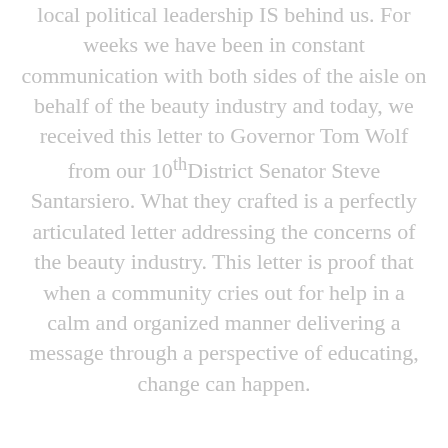local political leadership IS behind us. For weeks we have been in constant communication with both sides of the aisle on behalf of the beauty industry and today, we received this letter to Governor Tom Wolf from our 10th District Senator Steve Santarsiero. What they crafted is a perfectly articulated letter addressing the concerns of the beauty industry. This letter is proof that when a community cries out for help in a calm and organized manner delivering a message through a perspective of educating, change can happen.